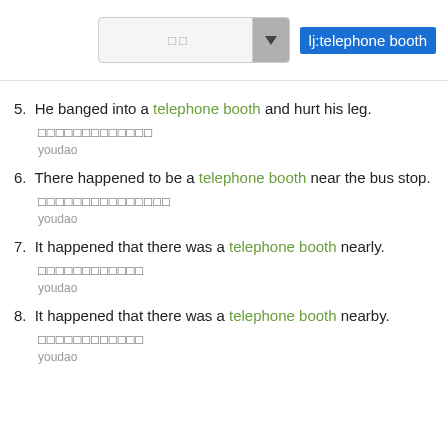lj:telephone booth
5. He banged into a telephone booth and hurt his leg.
6. There happened to be a telephone booth near the bus stop.
7. It happened that there was a telephone booth nearly.
8. It happened that there was a telephone booth nearby.